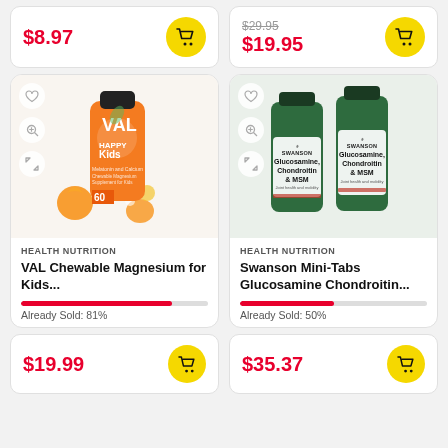$8.97
$29.95 (strikethrough) $19.95
[Figure (photo): VAL Happy Kids Magnesium and Calcium Chewable Supplement bottle with oranges and flowers]
HEALTH NUTRITION
VAL Chewable Magnesium for Kids...
Already Sold: 81%
[Figure (photo): Two Swanson Glucosamine Chondroitin & MSM supplement bottles]
HEALTH NUTRITION
Swanson Mini-Tabs Glucosamine Chondroitin...
Already Sold: 50%
$19.99
$35.37